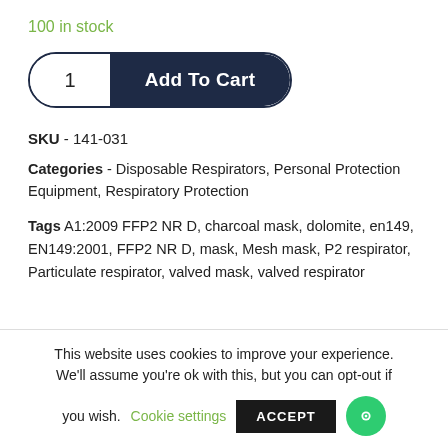100 in stock
1  Add To Cart
SKU - 141-031
Categories - Disposable Respirators, Personal Protection Equipment, Respiratory Protection
Tags A1:2009 FFP2 NR D, charcoal mask, dolomite, en149, EN149:2001, FFP2 NR D, mask, Mesh mask, P2 respirator, Particulate respirator, valved mask, valved respirator
This website uses cookies to improve your experience. We'll assume you're ok with this, but you can opt-out if you wish. Cookie settings ACCEPT